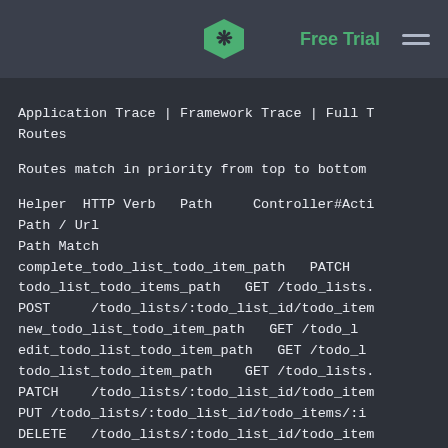Free Trial (navigation bar with logo and menu)
Application Trace | Framework Trace | Full T
Routes
Routes match in priority from top to bottom
Helper  HTTP Verb   Path     Controller#Acti
Path / Url
Path Match
complete_todo_list_todo_item_path   PATCH
todo_list_todo_items_path   GET /todo_lists.
POST     /todo_lists/:todo_list_id/todo_item
new_todo_list_todo_item_path   GET /todo_li
edit_todo_list_todo_item_path   GET /todo_li
todo_list_todo_item_path    GET /todo_lists.
PATCH    /todo_lists/:todo_list_id/todo_item
PUT /todo_lists/:todo_list_id/todo_items/:i
DELETE   /todo_lists/:todo_list_id/todo_item
todo_lists_path GET /todo_lists(.:format)